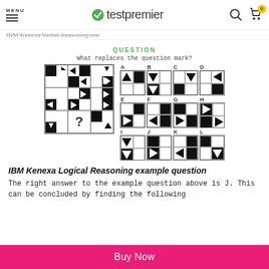testpremier
IBM Kenexa Verbal Reasoning test
QUESTION
What replaces the question mark?
[Figure (other): 3x3 matrix puzzle with black-and-white quadrant squares containing triangles and arrows, with a question mark in the center-bottom cell. Answer options A-L shown to the right.]
IBM Kenexa Logical Reasoning example question
The right answer to the example question above is J. This can be concluded by finding the following
Buy Now